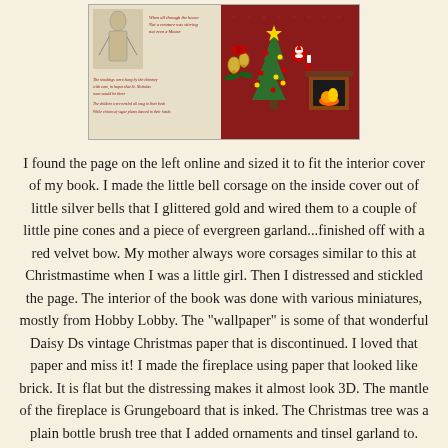[Figure (photo): A photograph showing two open book pages — on the left a page with vintage Christmas text and an illustration, on the right a decorated book interior with a Christmas scene including a Christmas tree, ornaments, and holiday decorations in a red book cover.]
I found the page on the left online and sized it to fit the interior cover of my book. I made the little bell corsage on the inside cover out of little silver bells that I glittered gold and wired them to a couple of little pine cones and a piece of evergreen garland...finished off with a red velvet bow. My mother always wore corsages similar to this at Christmastime when I was a little girl. Then I distressed and stickled the page. The interior of the book was done with various miniatures, mostly from Hobby Lobby. The "wallpaper" is some of that wonderful Daisy Ds vintage Christmas paper that is discontinued. I loved that paper and miss it! I made the fireplace using paper that looked like brick. It is flat but the distressing makes it almost look 3D. The mantle of the fireplace is Grungeboard that is inked. The Christmas tree was a plain bottle brush tree that I added ornaments and tinsel garland to. Santa was a little ornament from Hobby Lobby. He was the perfect size! The stocking hung by the chimney with care is actually a piece of